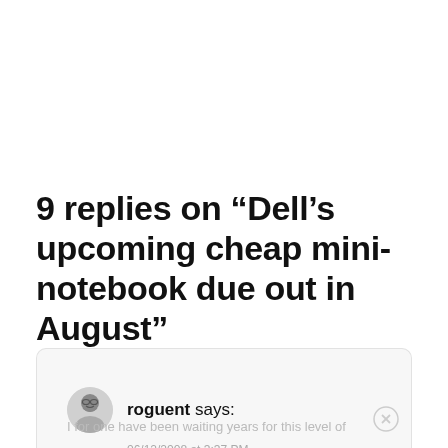9 replies on “Dell’s upcoming cheap mini-notebook due out in August”
roguent says: 06/12/2008 at 3:37 PM
I for one have been waiting years for this level of